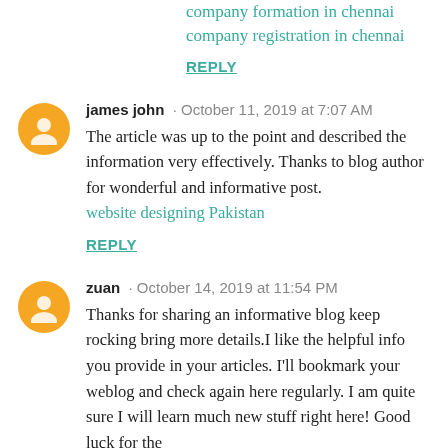company formation in chennai
company registration in chennai
REPLY
james john · October 11, 2019 at 7:07 AM
The article was up to the point and described the information very effectively. Thanks to blog author for wonderful and informative post.
website designing Pakistan
REPLY
zuan · October 14, 2019 at 11:54 PM
Thanks for sharing an informative blog keep rocking bring more details.I like the helpful info you provide in your articles. I'll bookmark your weblog and check again here regularly. I am quite sure I will learn much new stuff right here! Good luck for the